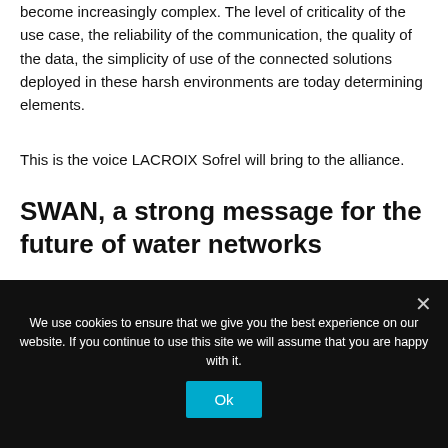become increasingly complex. The level of criticality of the use case, the reliability of the communication, the quality of the data, the simplicity of use of the connected solutions deployed in these harsh environments are today determining elements.
This is the voice LACROIX Sofrel will bring to the alliance.
SWAN, a strong message for the future of water networks
The SWAN Global Industrial Alliance (Smart Water Networks) was founded to optimize the data processing of water
We use cookies to ensure that we give you the best experience on our website. If you continue to use this site we will assume that you are happy with it.